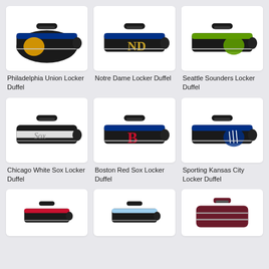[Figure (photo): Philadelphia Union Locker Duffel bag - black with blue and gold accents]
Philadelphia Union Locker Duffel
[Figure (photo): Notre Dame Locker Duffel bag - black with blue accents and ND logo]
Notre Dame Locker Duffel
[Figure (photo): Seattle Sounders Locker Duffel bag - black with green accents]
Seattle Sounders Locker Duffel
[Figure (photo): Chicago White Sox Locker Duffel bag - black with white accents]
Chicago White Sox Locker Duffel
[Figure (photo): Boston Red Sox Locker Duffel bag - black with navy blue and red B logo]
Boston Red Sox Locker Duffel
[Figure (photo): Sporting Kansas City Locker Duffel bag - black with blue accents]
Sporting Kansas City Locker Duffel
[Figure (photo): Locker Duffel bag - black with red accents (partial view)]
[Figure (photo): Locker Duffel bag - black with light blue accents (partial view)]
[Figure (photo): Large duffel bag - maroon/burgundy with gray accents (partial view)]